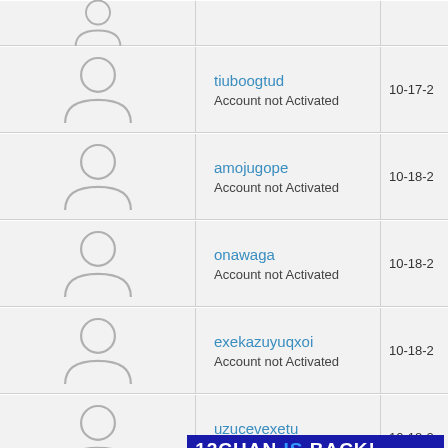| Avatar | Username/Status | Date |
| --- | --- | --- |
| [avatar] |  |  |
| [avatar] | tiuboogtud
Account not Activated | 10-17-2 |
| [avatar] | amojugope
Account not Activated | 10-18-2 |
| [avatar] | onawaga
Account not Activated | 10-18-2 |
| [avatar] | exekazuyuqxoi
Account not Activated | 10-18-2 |
| [avatar] | uzucevexetu
Account not Activated | 10-18-2 |
[Figure (illustration): 12CHAN IS BACK! watermark overlay with text NUDE AND NONUDE PRETEEN MODELS SETS & VIDEOS]